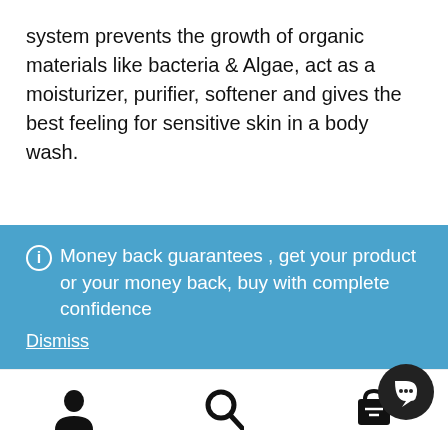system prevents the growth of organic materials like bacteria & Algae, act as a moisturizer, purifier, softener and gives the best feeling for sensitive skin in a body wash.
Money back guarantees , get your product or your money back, buy with complete confidence
Dismiss